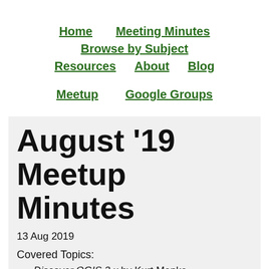Home    Meeting Minutes    Browse by Subject    Resources    About    Blog    Meetup    Google Groups
August '19 Meetup Minutes
13 Aug 2019
Covered Topics:
Discover QGIS 3.x by Kurt Menke
Proposed Spatial SQL Workshop at CHGOS Fall Fling